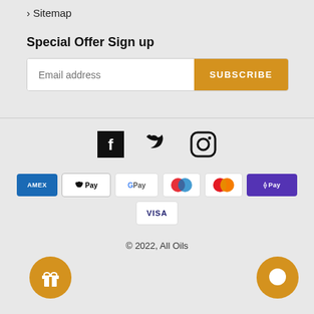› Sitemap
Special Offer Sign up
[Figure (other): Email subscription form with text input 'Email address' and orange SUBSCRIBE button]
[Figure (other): Social media icons: Facebook, Twitter, Instagram]
[Figure (other): Payment method badges: AMEX, Apple Pay, Google Pay, Maestro, Mastercard, Shop Pay, Visa]
© 2022, All Oils